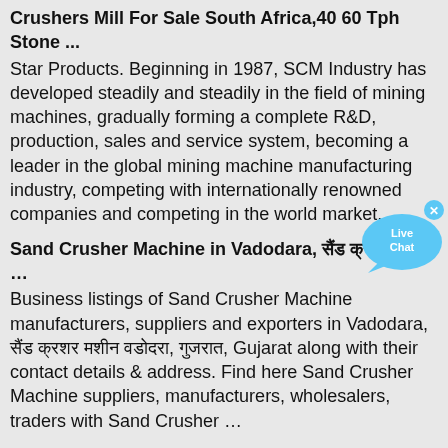Crushers Mill For Sale South Africa,40 60 Tph Stone ...
Star Products. Beginning in 1987, SCM Industry has developed steadily and steadily in the field of mining machines, gradually forming a complete R&D, production, sales and service system, becoming a leader in the global mining machine manufacturing industry, competing with internationally renowned companies and competing in the world market.
Sand Crusher Machine in Vadodara, सैंड क्रशर मशीन, …
Business listings of Sand Crusher Machine manufacturers, suppliers and exporters in Vadodara, सैंड क्रशर मशीन वडोदरा, गुजरात, Gujarat along with their contact details & address. Find here Sand Crusher Machine suppliers, manufacturers, wholesalers, traders with Sand Crusher …
[Figure (other): Live Chat bubble icon in blue]
Kodiak Cone Crusher
Kodiak Cone Crusher Products. As a leading global manufacturer of crushing, grinding and mining equipments, we offer advanced, reasonable solutions for any size-reduction requirements including, Kodiak Cone Crusher, quarry, aggregate, and different kinds of minerals.
25 Tph Cement Ball Mill,Impact Crusher Manufacturer …
XSD Sand Washer. Sand washing machine of XSD series is a kind of cleaning equipment of international advanced level for sand. VSI6X Crusher. VSI6X crusher is necessary crushing